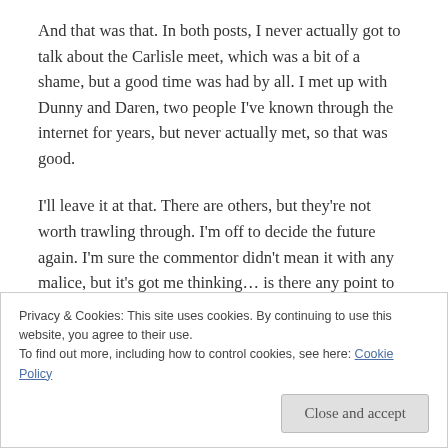And that was that. In both posts, I never actually got to talk about the Carlisle meet, which was a bit of a shame, but a good time was had by all. I met up with Dunny and Daren, two people I've known through the internet for years, but never actually met, so that was good.
I'll leave it at that. There are others, but they're not worth trawling through. I'm off to decide the future again. I'm sure the commentor didn't mean it with any malice, but it's got me thinking… is there any point to all of this?
Privacy & Cookies: This site uses cookies. By continuing to use this website, you agree to their use.
To find out more, including how to control cookies, see here: Cookie Policy